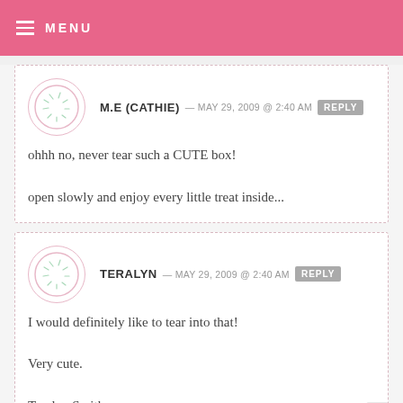MENU
M.E (CATHIE) — MAY 29, 2009 @ 2:40 AM REPLY
ohhh no, never tear such a CUTE box!
open slowly and enjoy every little treat inside...
TERALYN — MAY 29, 2009 @ 2:40 AM REPLY
I would definitely like to tear into that!
Very cute.
Teralyn Smith